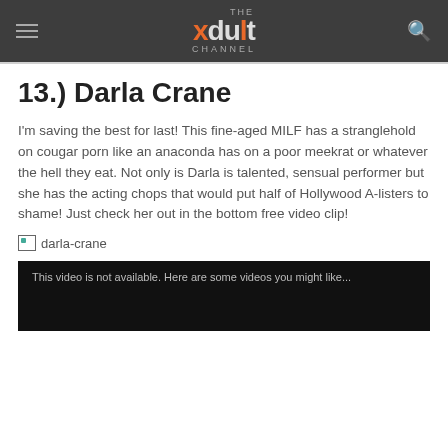THE xdult CHANNEL
13.) Darla Crane
I'm saving the best for last! This fine-aged MILF has a stranglehold on cougar porn like an anaconda has on a poor meekrat or whatever the hell they eat. Not only is Darla is talented, sensual performer but she has the acting chops that would put half of Hollywood A-listers to shame! Just check her out in the bottom free video clip!
[Figure (photo): Broken image placeholder with alt text 'darla-crane']
[Figure (screenshot): Video player showing 'This video is not available. Here are some videos you might like...' on a black background]